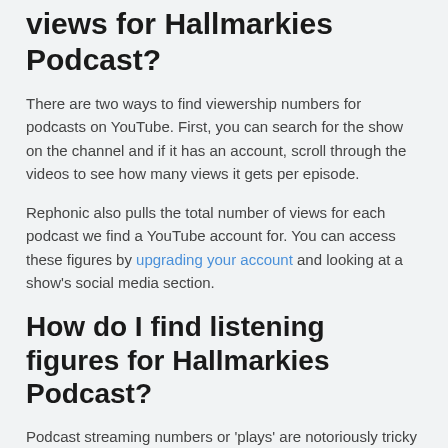views for Hallmarkies Podcast?
There are two ways to find viewership numbers for podcasts on YouTube. First, you can search for the show on the channel and if it has an account, scroll through the videos to see how many views it gets per episode.
Rephonic also pulls the total number of views for each podcast we find a YouTube account for. You can access these figures by upgrading your account and looking at a show's social media section.
How do I find listening figures for Hallmarkies Podcast?
Podcast streaming numbers or 'plays' are notoriously tricky to find. Fortunately, Rephonic provides estimated listener figures for Hallmarkies Podcast and two million other podcasts in our database.
To check these stats and get a feel for the show's audience size